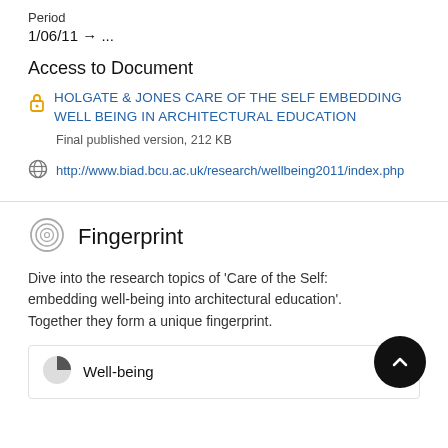Period
1/06/11 → ...
Access to Document
HOLGATE & JONES CARE OF THE SELF EMBEDDING WELL BEING IN ARCHITECTURAL EDUCATION
Final published version, 212 KB
http://www.biad.bcu.ac.uk/research/wellbeing2011/index.php
Fingerprint
Dive into the research topics of 'Care of the Self: embedding well-being into architectural education'. Together they form a unique fingerprint.
Well-being